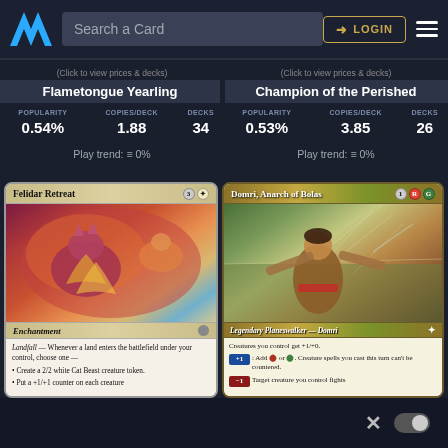[Figure (screenshot): Top navigation bar of a Magic: The Gathering card search website with logo, search field reading 'Search a Card', LOGIN button, and hamburger menu]
(Click to view prices & decks)
Flametongue Yearling
| POPULARITY | COPIES/DECK | DECKS |
| --- | --- | --- |
| 0.54% | 1.88 | 34 |
Play trend: = 0%
(Click to view prices & decks)
Champion of the Perished
| POPULARITY | COPIES/DECK | DECKS |
| --- | --- | --- |
| 0.53% | 3.85 | 26 |
Play trend: = 0%
[Figure (illustration): Magic: The Gathering card 'Felidar Retreat' — Enchantment with mana cost 3W. Art shows cat beast creatures amid fiery swirling energy. Card text: Landfall — Whenever a land enters the battlefield under your control, choose one — Create a 2/2 white Cat Beast creature token. Put a +1/+1 counter on each creature]
[Figure (illustration): Magic: The Gathering card 'Domri, Anarch of Bolas' — Legendary Planeswalker — Domri with mana cost 1RG. Art shows a young warrior with weapons in a destroyed environment. Card text: Creatures you control get +1/+0. +1: Add R or G. Creature spells you cast this turn can't be countered. -2: Target creature you control fights]